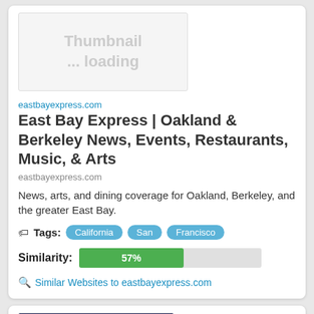[Figure (screenshot): Thumbnail loading placeholder image for eastbayexpress.com]
eastbayexpress.com
East Bay Express | Oakland & Berkeley News, Events, Restaurants, Music, & Arts
eastbayexpress.com
News, arts, and dining coverage for Oakland, Berkeley, and the greater East Bay.
Tags: California San Francisco
Similarity: 57%
Similar Websites to eastbayexpress.com
[Figure (screenshot): Screenshot thumbnail of sfsu.edu - San Francisco State University website showing congratulations message]
goto sfsu.edu